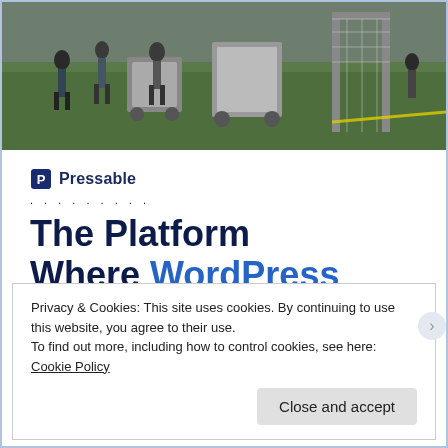[Figure (photo): Outdoor scene on a grass field with people and equipment/carts visible, appears to be a sporting event or field setup.]
Pressable
The Platform Where WordPress Works Best
Privacy & Cookies: This site uses cookies. By continuing to use this website, you agree to their use.
To find out more, including how to control cookies, see here:
Cookie Policy
Close and accept